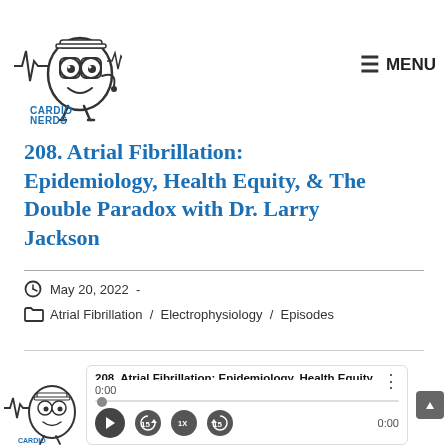[Figure (logo): CardioNerds logo: cartoon heart character wearing glasses and stethoscope with ECG waveform and text CARDIO NERDS]
☰ MENU
208. Atrial Fibrillation: Epidemiology, Health Equity, & The Double Paradox with Dr. Larry Jackson
May 20, 2022 -
Atrial Fibrillation / Electrophysiology / Episodes
[Figure (screenshot): Audio podcast player widget showing episode 208. Atrial Fibrillation: Epidemiology, Health Equity with playback controls, time 0:00, progress bar, and CardioNerds logo]